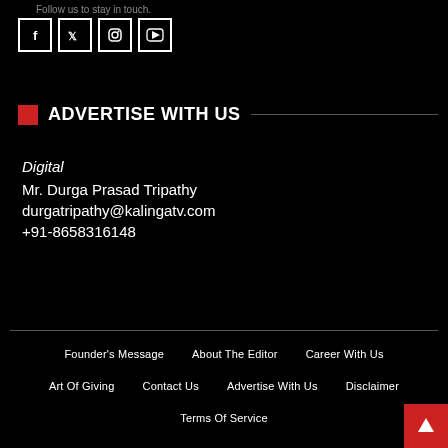Follow us to stay in touch.
[Figure (illustration): Social media icons row: Facebook, Twitter, Instagram, YouTube — each in a white-bordered square box]
ADVERTISE WITH US
Digital
Mr. Durga Prasad Tripathy
durgatripathy@kalingatv.com
+91-8658316148
Founder's Message  About The Editor  Career With Us  Art Of Giving  Contact Us  Advertise With Us  Disclaimer  Terms Of Service